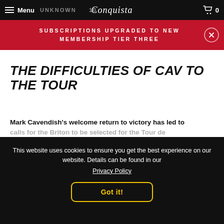Menu | Conquista | 0
SUBSCRIPTIONS UPGRADED TO NEW MEMBERSHIP TIER THREE
THE DIFFICULTIES OF CAV TO THE TOUR
Mark Cavendish's welcome return to victory has led to calls for the Briton to be selected for the Tour de
Read More >
This website uses cookies to ensure you get the best experience on our website. Details can be found in our Privacy Policy
Got it!